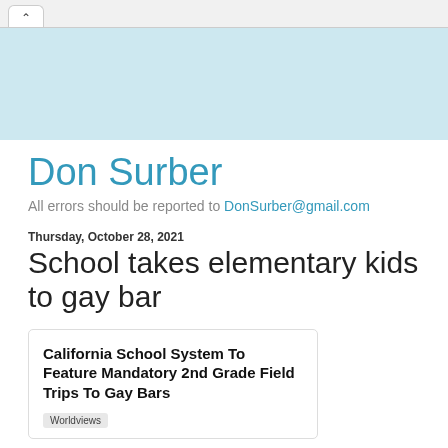^
[Figure (other): Light blue banner background area]
Don Surber
All errors should be reported to DonSurber@gmail.com
Thursday, October 28, 2021
School takes elementary kids to gay bar
California School System To Feature Mandatory 2nd Grade Field Trips To Gay Bars
Worldviews